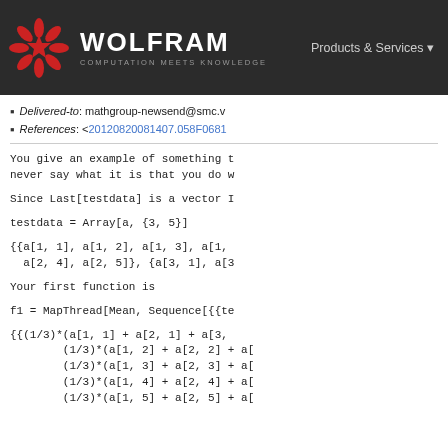WOLFRAM COMPUTATION MEETS KNOWLEDGE | Products & Services
Delivered-to: mathgroup-newsend@smc.v...
References: <20120820081407.058F0681...
You give an example of something t... never say what it is that you do w...
Since Last[testdata] is a vector I...
testdata = Array[a, {3, 5}]
{{a[1, 1], a[1, 2], a[1, 3], a[1, ...  a[2, 4], a[2, 5]}, {a[3, 1], a[3...
Your first function is
f1 = MapThread[Mean, Sequence[{{te...
{{(1/3)*(a[1, 1] + a[2, 1] + a[3, ...  (1/3)*(a[1, 2] + a[2, 2] + a[... (1/3)*(a[1, 3] + a[2, 3] + a[... (1/3)*(a[1, 4] + a[2, 4] + a[... (1/3)*(a[1, 5] + a[2, 5] + a[...